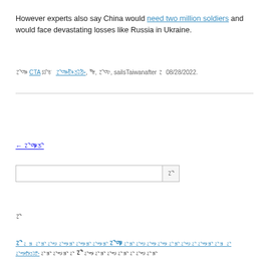However experts also say China would need two million soldiers and would face devastating losses like Russia in Ukraine.
ᤁᤡᤛᤣᤴ CTA ᤀᤡᤃ ᤁᤡᤛᤣᤴᤇᤠᤣᤴᤍᤡᤱᤒᤠᤴ, ᤗᤠᤶ, ᤁᤡᤛᤣ, sailsTaiwanafter ᤁ 08/28/2022.
← ᤁᤡᤛᤣᤴᤍᤡ
ᤁᤡ
footer links with mixed character sizes